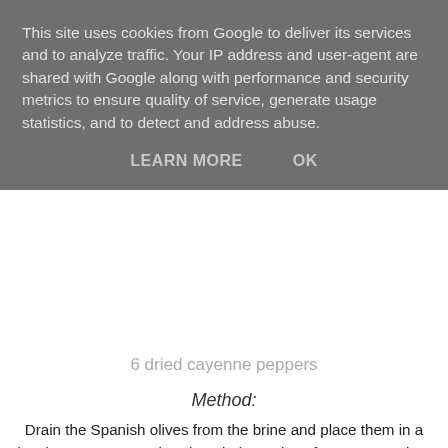This site uses cookies from Google to deliver its services and to analyze traffic. Your IP address and user-agent are shared with Google along with performance and security metrics to ensure quality of service, generate usage statistics, and to detect and address abuse.
LEARN MORE   OK
6 dried cayenne peppers
Method:
Drain the Spanish olives from the brine and place them in a bowl.  Between your hands, rub the sprigs of oregano so they release their natural aromas, before sprinkling the sprigs over the olives in the bowl with the crushed chillies.  Drizzle over the olive oil and then turn everything together to mix.  Leave to stand for 20 minutes then enjoy the freshly marinated olives, or keep in the fridge for up to a month in a tightly sealed container.
Serves 4
Per serving: 222 kcals/ 0.2g protein / 25g fat/ 2.5g saturated